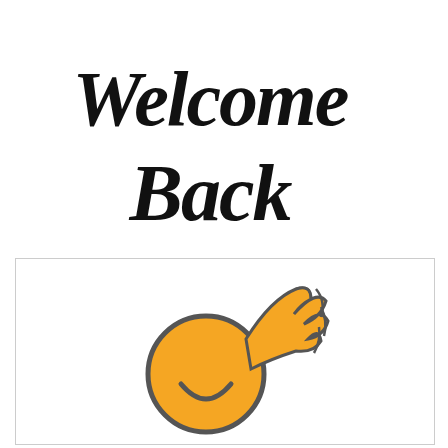[Figure (illustration): Handwritten-style cursive script text 'Welcome Back' in large black calligraphic lettering]
[Figure (illustration): A smiling face emoji / cartoon icon in orange and grey, with an arm raised in a waving gesture. The figure has a circular orange smiley face with a grey outline and an orange hand/arm waving upward.]